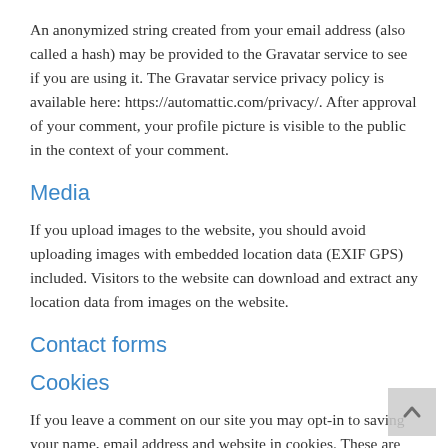An anonymized string created from your email address (also called a hash) may be provided to the Gravatar service to see if you are using it. The Gravatar service privacy policy is available here: https://automattic.com/privacy/. After approval of your comment, your profile picture is visible to the public in the context of your comment.
Media
If you upload images to the website, you should avoid uploading images with embedded location data (EXIF GPS) included. Visitors to the website can download and extract any location data from images on the website.
Contact forms
Cookies
If you leave a comment on our site you may opt-in to saving your name, email address and website in cookies. These are for your convenience so that you do not have to fill in your